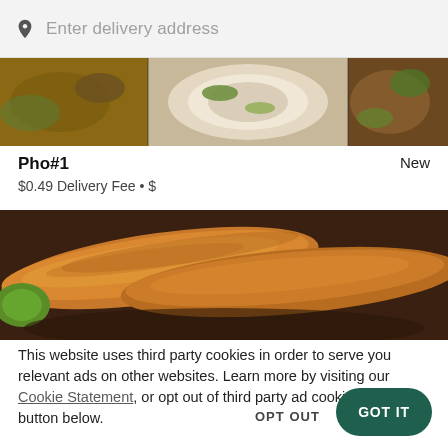Enter delivery address
[Figure (photo): Strip of Vietnamese food photos including pho soup and other dishes]
Pho#1
New
$0.49 Delivery Fee • $
[Figure (photo): Close-up photo of golden fried spring rolls / egg rolls on a plate with lime]
This website uses third party cookies in order to serve you relevant ads on other websites. Learn more by visiting our Cookie Statement, or opt out of third party ad cookies using the button below.
OPT OUT
GOT IT